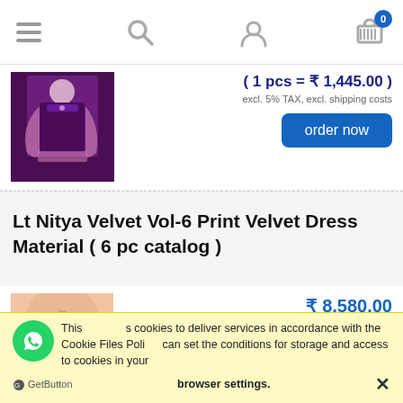[Figure (screenshot): Mobile navigation bar with hamburger menu, search icon, user icon, and shopping cart with badge showing 0]
( 1 pcs = ₹ 1,445.00 )
excl. 5% TAX, excl. shipping costs
[Figure (photo): Woman wearing purple/dark violet salwar kameez with pink dupatta - product photo]
order now
Lt Nitya Velvet Vol-6 Print Velvet Dress Material ( 6 pc catalog )
₹ 8,580.00
( 1 pcs = ₹ 1,430.00 )
[Figure (photo): Woman in beige/peach colored dress material - product photo partially visible]
This site uses cookies to deliver services in accordance with the Cookie Files Policy. You can set the conditions for storage and access to cookies in your browser settings.
[Figure (logo): WhatsApp green circular icon]
GetButton
browser settings.
✕